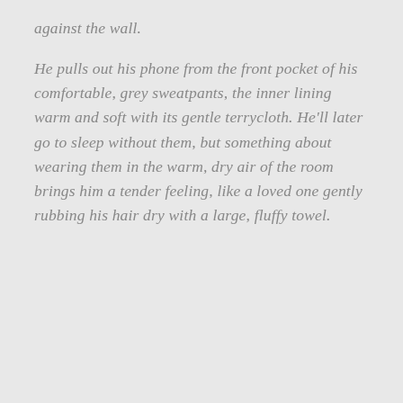against the wall.

He pulls out his phone from the front pocket of his comfortable, grey sweatpants, the inner lining warm and soft with its gentle terrycloth. He'll later go to sleep without them, but something about wearing them in the warm, dry air of the room brings him a tender feeling, like a loved one gently rubbing his hair dry with a large, fluffy towel.